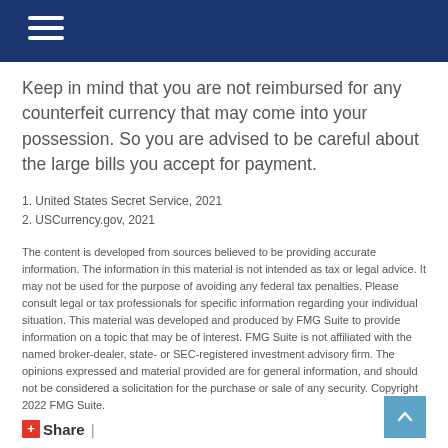Keep in mind that you are not reimbursed for any counterfeit currency that may come into your possession. So you are advised to be careful about the large bills you accept for payment.
1. United States Secret Service, 2021
2. USCurrency.gov, 2021
The content is developed from sources believed to be providing accurate information. The information in this material is not intended as tax or legal advice. It may not be used for the purpose of avoiding any federal tax penalties. Please consult legal or tax professionals for specific information regarding your individual situation. This material was developed and produced by FMG Suite to provide information on a topic that may be of interest. FMG Suite is not affiliated with the named broker-dealer, state- or SEC-registered investment advisory firm. The opinions expressed and material provided are for general information, and should not be considered a solicitation for the purchase or sale of any security. Copyright 2022 FMG Suite.
Share